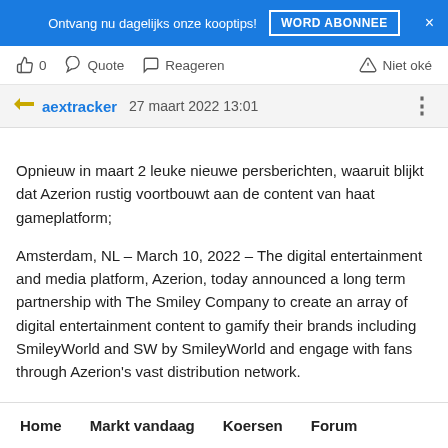Ontvang nu dagelijks onze kooptips! WORD ABONNEE ×
👍 0   Quote   Reageren   Niet oké
aextracker   27 maart 2022 13:01
Opnieuw in maart 2 leuke nieuwe persberichten, waaruit blijkt dat Azerion rustig voortbouwt aan de content van haat gameplatform;

Amsterdam, NL – March 10, 2022 – The digital entertainment and media platform, Azerion, today announced a long term partnership with The Smiley Company to create an array of digital entertainment content to gamify their brands including SmileyWorld and SW by SmileyWorld and engage with fans through Azerion's vast distribution network.

"The original Smiley® has been part of our day-to-day life for 50
Home   Markt vandaag   Koersen   Forum